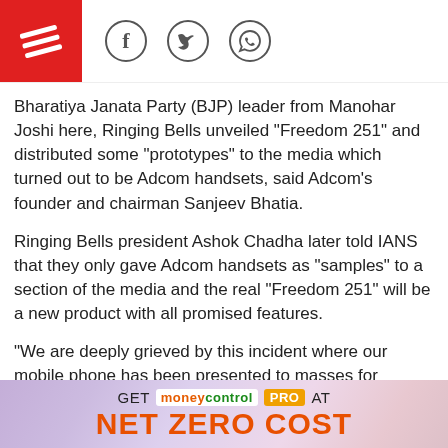[Social share icons: Facebook, Twitter, WhatsApp] [Red logo with diagonal lines]
Bharatiya Janata Party (BJP) leader from Manohar Joshi here, Ringing Bells unveiled "Freedom 251" and distributed some "prototypes" to the media which turned out to be Adcom handsets, said Adcom's founder and chairman Sanjeev Bhatia.
Ringing Bells president Ashok Chadha later told IANS that they only gave Adcom handsets as "samples" to a section of the media and the real "Freedom 251" will be a new product with all promised features.
"We are deeply grieved by this incident where our mobile phone has been presented to masses for Rs.251, and therefore, would not hesitate from taking any legal actions against the company, in case the entire fiasco impacts Adcom's brand name or subsequently we face any other
[Figure (infographic): Advertisement banner: GET moneycontrol PRO AT NET ZERO COST]